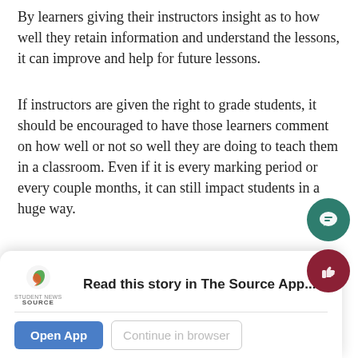By learners giving their instructors insight as to how well they retain information and understand the lessons, it can improve and help for future lessons.
If instructors are given the right to grade students, it should be encouraged to have those learners comment on how well or not so well they are doing to teach them in a classroom. Even if it is every marking period or every couple months, it can still impact students in a huge way.
The experience given in a classroom is unique for each teacher, so what better way than having students “grade” their teachers’ way of teaching?
communication   Hershey   teachers
Read this story in The Source App...
Open App   Continue in browser